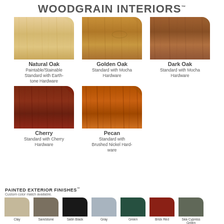WOODGRAIN INTERIORS™
[Figure (illustration): Five woodgrain interior finish swatches: Natural Oak, Golden Oak, Dark Oak, Cherry, Pecan. Each shown as a rectangular swatch with rounded top-right corner, followed by wood name and hardware description.]
Natural Oak
Paintable/Stainable Standard with Earth-tone Hardware
Golden Oak
Standard with Mocha Hardware
Dark Oak
Standard with Mocha Hardware
Cherry
Standard with Cherry Hardware
Pecan
Standard with Brushed Nickel Hardware
PAINTED EXTERIOR FINISHES™
Custom color match available.
[Figure (illustration): Seven painted exterior finish color swatches: Clay, Sandstone, Satin Black, Gray, Green, Brick Red, Sea Cypress Green]